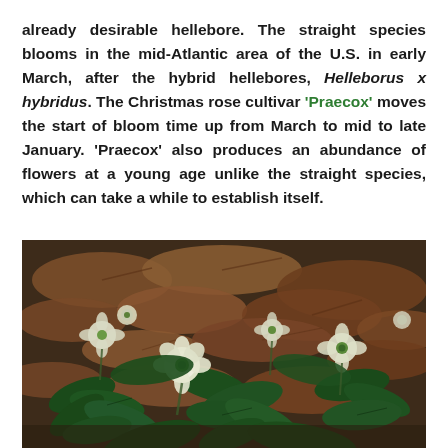already desirable hellebore. The straight species blooms in the mid-Atlantic area of the U.S. in early March, after the hybrid hellebores, Helleborus x hybridus. The Christmas rose cultivar 'Praecox' moves the start of bloom time up from March to mid to late January. 'Praecox' also produces an abundance of flowers at a young age unlike the straight species, which can take a while to establish itself.
[Figure (photo): Photograph of white hellebore (Christmas rose) flowers blooming among dark green foliage and brown fallen leaves on the ground in winter.]